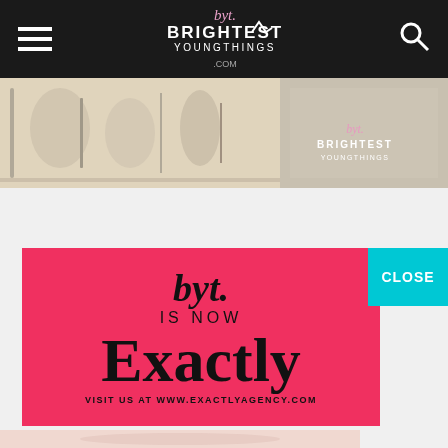BYT. BRIGHTEST YOUNG THINGS .COM
[Figure (photo): Hero banner image showing sketches and artwork on a light background, with a Brightest Young Things logo watermark on the right side]
[Figure (infographic): Red/coral advertisement overlay reading: byt. IS NOW Exactly VISIT US AT WWW.EXACTLYAGENCY.COM with a cyan CLOSE button in the top right corner]
[Figure (photo): Bottom partial photo showing a person, cropped at the bottom of the page]